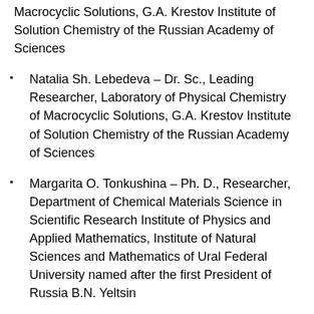Macrocyclic Solutions, G.A. Krestov Institute of Solution Chemistry of the Russian Academy of Sciences
Natalia Sh. Lebedeva – Dr. Sc., Leading Researcher, Laboratory of Physical Chemistry of Macrocyclic Solutions, G.A. Krestov Institute of Solution Chemistry of the Russian Academy of Sciences
Margarita O. Tonkushina – Ph. D., Researcher, Department of Chemical Materials Science in Scientific Research Institute of Physics and Applied Mathematics, Institute of Natural Sciences and Mathematics of Ural Federal University named after the first President of Russia B.N. Yeltsin